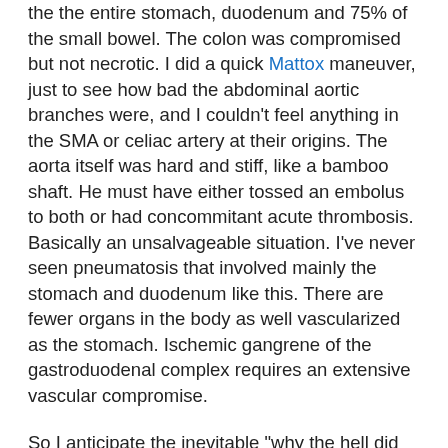the the entire stomach, duodenum and 75% of the small bowel. The colon was compromised but not necrotic. I did a quick Mattox maneuver, just to see how bad the abdominal aortic branches were, and I couldn't feel anything in the SMA or celiac artery at their origins. The aorta itself was hard and stiff, like a bamboo shaft. He must have either tossed an embolus to both or had concommitant acute thrombosis. Basically an unsalvageable situation. I've never seen pneumatosis that involved mainly the stomach and duodenum like this. There are fewer organs in the body as well vascularized as the stomach. Ischemic gangrene of the gastroduodenal complex requires an extensive vascular compromise.
So I anticipate the inevitable "why the hell did you operate" question. Why would I operate on someone with CT scan that showed basically dead stomach and duodenum? It's not like I was going to be able to resect the third and fourth parts of the duodenum safely. Well, maybe I shouldn't have. He had no chance. But I propose two reasons: 1. The guy wasn't gorked out on a vent when I saw him. He was awake and coherent, even charming. He wanted